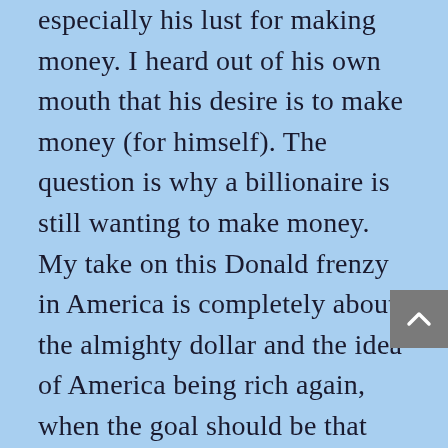especially his lust for making money. I heard out of his own mouth that his desire is to make money (for himself). The question is why a billionaire is still wanting to make money. My take on this Donald frenzy in America is completely about the almighty dollar and the idea of America being rich again, when the goal should be that Americans become righteous and Godly again. You know what the Scripture says about seek